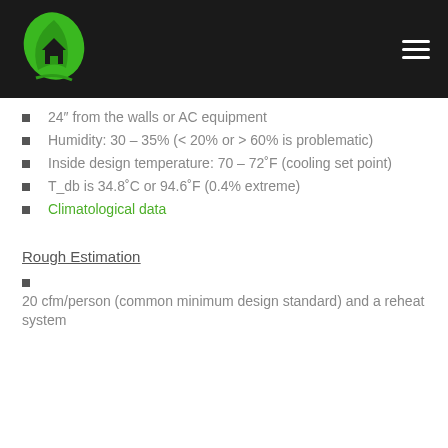[Figure (logo): Green leaf with house icon logo on black header background, with hamburger menu icon on the right]
24" from the walls or AC equipment
Humidity: 30 – 35% (< 20% or > 60% is problematic)
Inside design temperature: 70 – 72˚F (cooling set point)
T_db is 34.8˚C or 94.6˚F (0.4% extreme)
Climatological data
Rough Estimation
20 cfm/person (common minimum design standard) and a reheat system